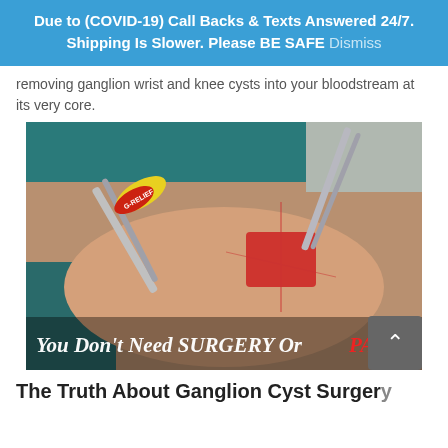Due to (COVID-19) Call Backs & Texts Answered 24/7. Shipping Is Slower. Please BE SAFE Dismiss
removing ganglion wrist and knee cysts into your bloodstream at its very core.
[Figure (photo): Medical photo of a surgical procedure on a wrist/hand with surgical instruments and a G-Relief product visible. Overlaid text reads: You Don't Need SURGERY Or PAIN (PAIN in red).]
The Truth About Ganglion Cyst Surgery
...